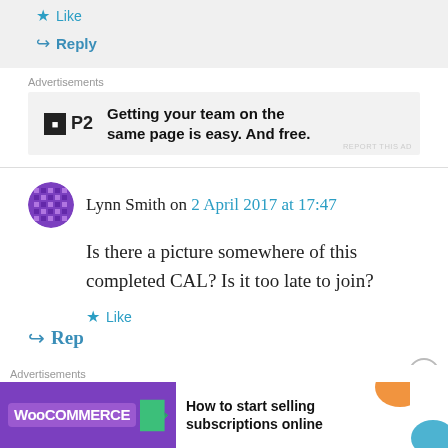★ Like
↪ Reply
Advertisements
[Figure (other): P2 advertisement banner: P2 logo with tagline 'Getting your team on the same page is easy. And free.']
REPORT THIS AD
Lynn Smith on 2 April 2017 at 17:47
Is there a picture somewhere of this completed CAL? Is it too late to join?
★ Like
↪ Reply
Advertisements
[Figure (other): WooCommerce advertisement banner: 'How to start selling subscriptions online']